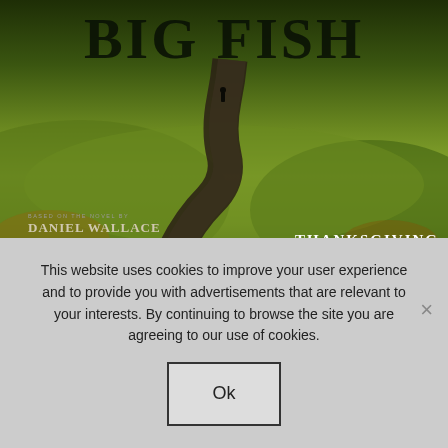[Figure (illustration): Big Fish movie poster showing a winding path through green rolling hills with the title 'Big Fish' at top and credits for Daniel Wallace and John August, with 'Thanksgiving' release date]
PREVIOUS POST
NEXT POST
This website uses cookies to improve your user experience and to provide you with advertisements that are relevant to your interests. By continuing to browse the site you are agreeing to our use of cookies.
Ok